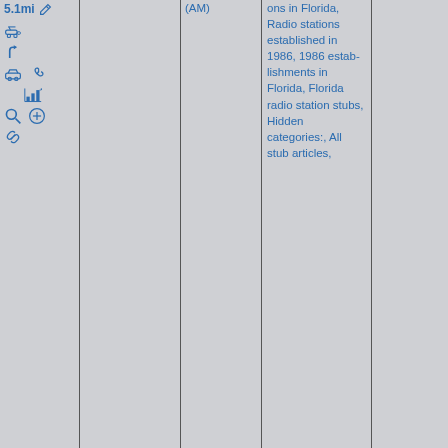[Figure (screenshot): Wikipedia-style page fragment showing a table with multiple columns. Left column contains navigation icons and a '5.1mi' label with a pencil/edit icon. The second and third columns are empty. The fourth column contains text listing Wikipedia categories: 'ons in Florida, Radio stations established in 1986, 1986 establishments in Florida, Florida radio station stubs, Hidden categories:, All stub articles,'. The fifth column is empty.]